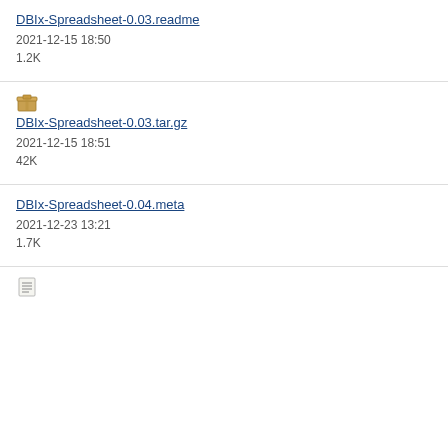DBIx-Spreadsheet-0.03.readme
2021-12-15 18:50
1.2K
DBIx-Spreadsheet-0.03.tar.gz
2021-12-15 18:51
42K
DBIx-Spreadsheet-0.04.meta
2021-12-23 13:21
1.7K